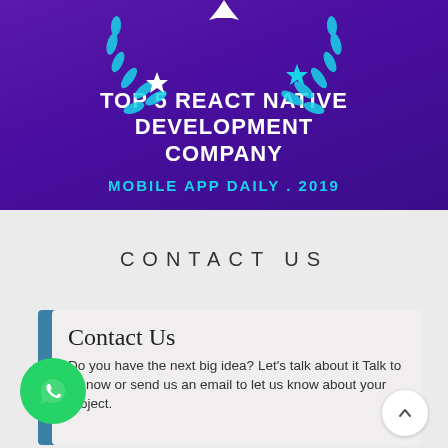[Figure (illustration): Award graphic with laurel wreaths, stars, and a ribbon badge on a purple background]
TOP 5 REACT NATIVE DEVELOPMENT COMPANY
MOBILE APP DAILY . 2019
CONTACT US
Contact Us
Do you have the next big idea? Let's talk about it Talk to us now or send us an email to let us know about your project.